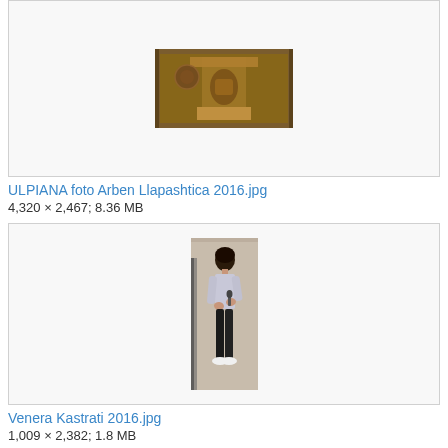[Figure (photo): Thumbnail of ULPIANA archaeological artifact photo - mosaic/fresco on wall]
ULPIANA foto Arben Llapashtica 2016.jpg
4,320 × 2,467; 8.36 MB
[Figure (photo): Thumbnail of Venera Kastrati 2016 photo - woman standing outdoors near brick wall]
Venera Kastrati 2016.jpg
1,009 × 2,382; 1.8 MB